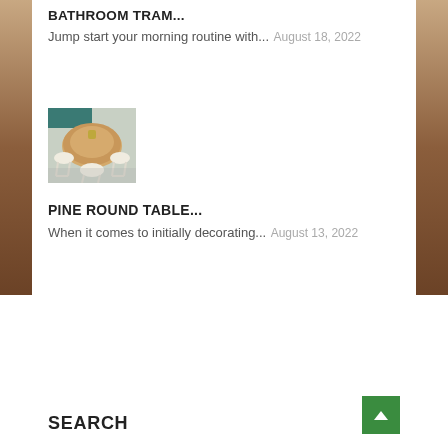BATHROOM TRAM...
Jump start your morning routine with...
August 18, 2022
[Figure (photo): Round pine dining table with white chairs]
PINE ROUND TABLE...
When it comes to initially decorating...
August 13, 2022
SEARCH